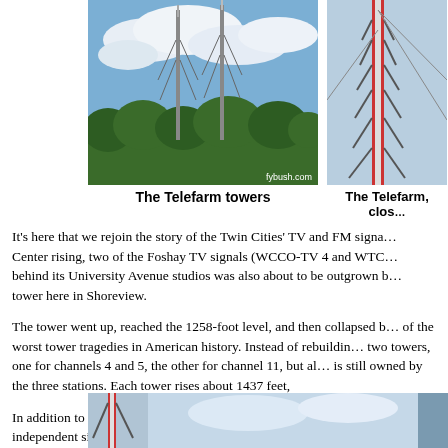[Figure (photo): Two tall broadcast towers against a blue sky with clouds and trees below. Watermark reads fybush.com]
The Telefarm towers
[Figure (photo): Close-up of a broadcast tower structure with guy wires visible against the sky (partially cropped at right edge)]
The Telefarm, clos…
It's here that we rejoin the story of the Twin Cities' TV and FM signa… Center rising, two of the Foshay TV signals (WCCO-TV 4 and WTC… behind its University Avenue studios was also about to be outgrown b… tower here in Shoreview.
The tower went up, reached the 1258-foot level, and then collapsed b… of the worst tower tragedies in American history. Instead of rebuildin… two towers, one for channels 4 and 5, the other for channel 11, but al… is still owned by the three stations. Each tower rises about 1437 feet,
In addition to their original owners, the Telefarm towers now also ho… independent sister station KSTC (Channel 45) and four FM facilities… Rapids), Minnesota Public Radio's KNOW (91.1) and an aux for WL…
[Figure (photo): Bottom partial image showing base of tower structure against sky]